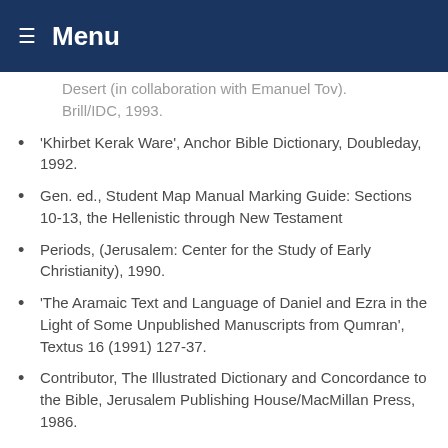≡ Menu
Desert (in collaboration with Emanuel Tov). Brill/IDC, 1993.
'Khirbet Kerak Ware', Anchor Bible Dictionary, Doubleday, 1992.
Gen. ed., Student Map Manual Marking Guide: Sections 10-13, the Hellenistic through New Testament
Periods, (Jerusalem: Center for the Study of Early Christianity), 1990.
'The Aramaic Text and Language of Daniel and Ezra in the Light of Some Unpublished Manuscripts from Qumran', Textus 16 (1991) 127-37.
Contributor, The Illustrated Dictionary and Concordance to the Bible, Jerusalem Publishing House/MacMillan Press, 1986.
'A Concordance to Ugaritica VII', in Ugaritic Studies 2, P.C. Craigie, ed. (originally